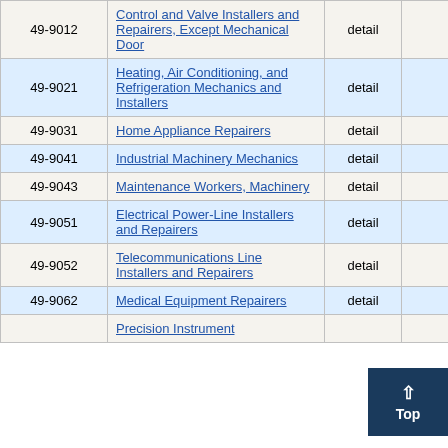| Code | Occupation Title | Level | Employment |  |
| --- | --- | --- | --- | --- |
| 49-9012 | Control and Valve Installers and Repairers, Except Mechanical Door | detail | 300 | 7 |
| 49-9021 | Heating, Air Conditioning, and Refrigeration Mechanics and Installers | detail | 2,670 | 7 |
| 49-9031 | Home Appliance Repairers | detail | 230 | 12 |
| 49-9041 | Industrial Machinery Mechanics | detail | 900 | 8 |
| 49-9043 | Maintenance Workers, Machinery | detail | 160 | 9 |
| 49-9051 | Electrical Power-Line Installers and Repairers | detail | 770 | 11 |
| 49-9052 | Telecommunications Line Installers and Repairers | detail | 600 | 12 |
| 49-9062 | Medical Equipment Repairers | detail | 44 |  |
| 49-90xx | Precision Instrument... |  |  |  |